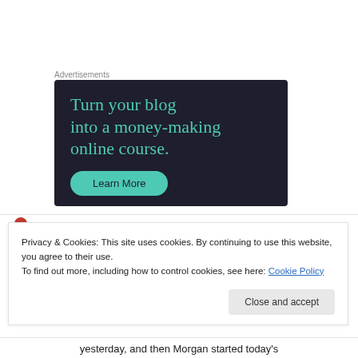Advertisements
[Figure (infographic): Dark navy advertisement banner reading 'Turn your blog into a money-making online course.' with a teal 'Learn More' button]
Privacy & Cookies: This site uses cookies. By continuing to use this website, you agree to their use.
To find out more, including how to control cookies, see here: Cookie Policy
Close and accept
yesterday, and then Morgan started today's